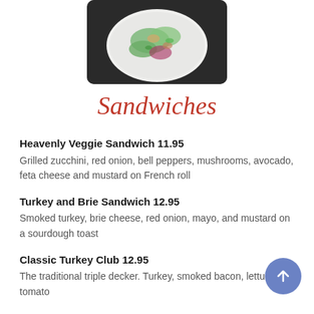[Figure (photo): Photo of a salad or food dish on a white plate, partially visible at the top of the page]
Sandwiches
Heavenly Veggie Sandwich 11.95 — Grilled zucchini, red onion, bell peppers, mushrooms, avocado, feta cheese and mustard on French roll
Turkey and Brie Sandwich 12.95 — Smoked turkey, brie cheese, red onion, mayo, and mustard on a sourdough toast
Classic Turkey Club 12.95 — The traditional triple decker. Turkey, smoked bacon, lettuce and tomato
Roasted Chicken Gruyere 13.95 — Roasted chicken breast, smoked bacon, balsamic...